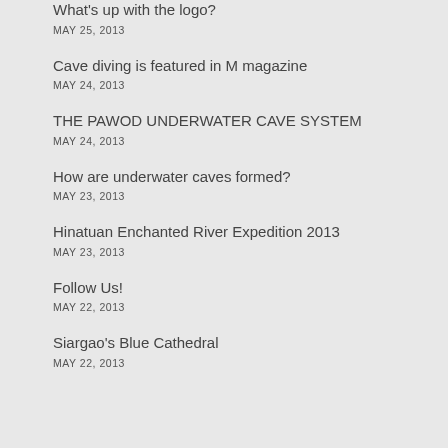What's up with the logo?
MAY 25, 2013
Cave diving is featured in M magazine
MAY 24, 2013
THE PAWOD UNDERWATER CAVE SYSTEM
MAY 24, 2013
How are underwater caves formed?
MAY 23, 2013
Hinatuan Enchanted River Expedition 2013
MAY 23, 2013
Follow Us!
MAY 22, 2013
Siargao's Blue Cathedral
MAY 22, 2013